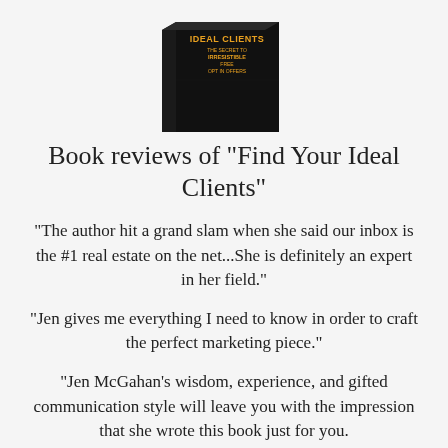[Figure (illustration): 3D book cover of 'Find Your Ideal Clients: The Secret to Irresistible Free Opt-In Offers' by Jen McGahan, shown at an angle with a reflection below it]
Book reviews of "Find Your Ideal Clients"
"The author hit a grand slam when she said our inbox is the #1 real estate on the net...She is definitely an expert in her field."
"Jen gives me everything I need to know in order to craft the perfect marketing piece."
"Jen McGahan's wisdom, experience, and gifted communication style will leave you with the impression that she wrote this book just for you.